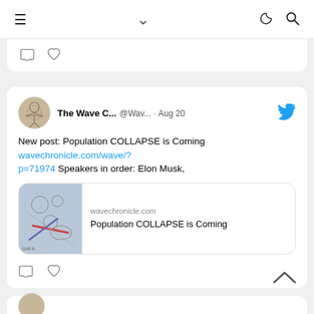≡  ∨  ☾  🔍
[Figure (screenshot): Social media feed showing tweet action icons (comment, heart) at top of card]
[Figure (screenshot): Tweet from 'The Wave C...' (@Wav...) dated Aug 20 with Twitter bird icon. Text: 'New post: Population COLLAPSE is Coming wavechronicle.com/wave/?p=71974 Speakers in order: Elon Musk,' with link preview card showing wavechronicle.com and title 'Population COLLAPSE is Coming'. Below: comment and heart action icons.]
[Figure (screenshot): Partial bottom of another feed card visible at very bottom of screen]